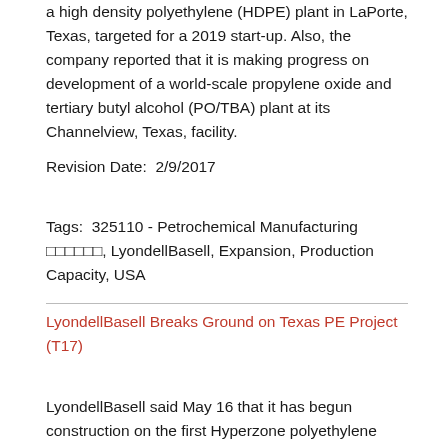a high density polyethylene (HDPE) plant in LaPorte, Texas, targeted for a 2019 start-up. Also, the company reported that it is making progress on development of a world-scale propylene oxide and tertiary butyl alcohol (PO/TBA) plant at its Channelview, Texas, facility.
Revision Date:  2/9/2017
Tags:  325110 - Petrochemical Manufacturing ??????, LyondellBasell, Expansion, Production Capacity, USA
LyondellBasell Breaks Ground on Texas PE Project (T17)
LyondellBasell said May 16 that it has begun construction on the first Hyperzone polyethylene (PE)